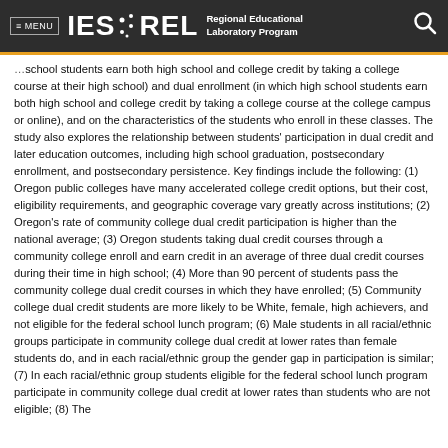≡ MENU  IES · REL  Regional Educational Laboratory Program
school students earn both high school and college credit by taking a college course at their high school) and dual enrollment (in which high school students earn both high school and college credit by taking a college course at the college campus or online), and on the characteristics of the students who enroll in these classes. The study also explores the relationship between students' participation in dual credit and later education outcomes, including high school graduation, postsecondary enrollment, and postsecondary persistence. Key findings include the following: (1) Oregon public colleges have many accelerated college credit options, but their cost, eligibility requirements, and geographic coverage vary greatly across institutions; (2) Oregon's rate of community college dual credit participation is higher than the national average; (3) Oregon students taking dual credit courses through a community college enroll and earn credit in an average of three dual credit courses during their time in high school; (4) More than 90 percent of students pass the community college dual credit courses in which they have enrolled; (5) Community college dual credit students are more likely to be White, female, high achievers, and not eligible for the federal school lunch program; (6) Male students in all racial/ethnic groups participate in community college dual credit at lower rates than female students do, and in each racial/ethnic group the gender gap in participation is similar; (7) In each racial/ethnic group students eligible for the federal school lunch program participate in community college dual credit at lower rates than students who are not eligible; (8) The